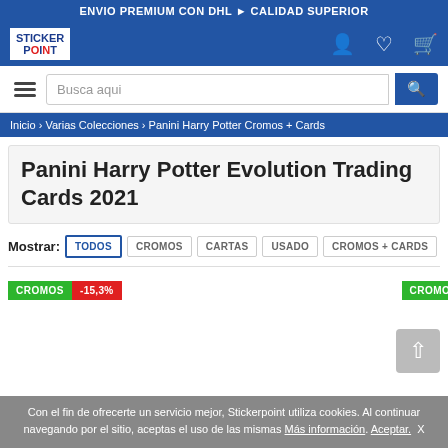ENVIO PREMIUM CON DHL ► CALIDAD SUPERIOR
[Figure (logo): Stickerpoint logo - white box with STICKER POINT text]
Busca aqui
Inicio › Varias Colecciones › Panini Harry Potter Cromos + Cards
Panini Harry Potter Evolution Trading Cards 2021
Mostrar: TODOS  CROMOS  CARTAS  USADO  CROMOS + CARDS
CROMOS -15,3%
CROMOS -13,6%
Con el fin de ofrecerte un servicio mejor, Stickerpoint utiliza cookies. Al continuar navegando por el sitio, aceptas el uso de las mismas Más información. Aceptar.  X